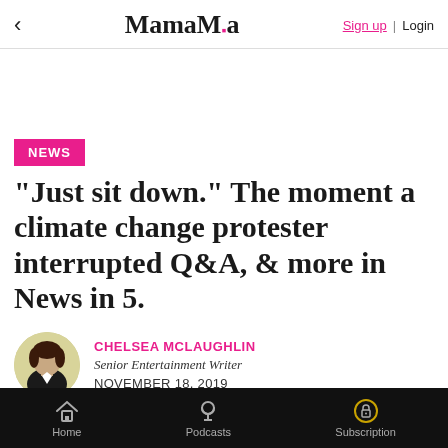MamaMia | Sign up | Login
NEWS
"Just sit down." The moment a climate change protester interrupted Q&A, & more in News in 5.
CHELSEA MCLAUGHLIN
Senior Entertainment Writer
NOVEMBER 18, 2019
Home | Podcasts | Subscription